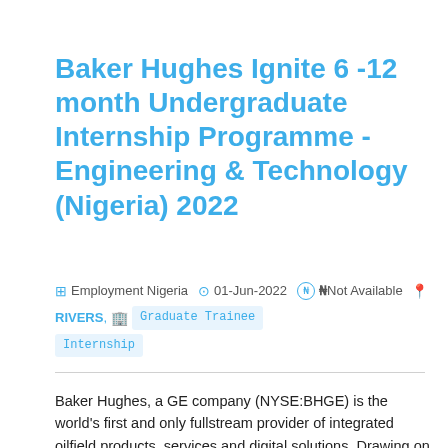Baker Hughes Ignite 6 -12 month Undergraduate Internship Programme - Engineering & Technology (Nigeria) 2022
Employment Nigeria  01-Jun-2022  ₦Not Available  RIVERS,  Graduate Trainee  Internship
Baker Hughes, a GE company (NYSE:BHGE) is the world's first and only fullstream provider of integrated oilfield products, services and digital solutions. Drawing on a storied heritage of invention, BHGE harnesses the